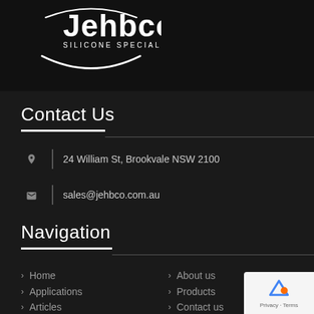[Figure (logo): Jehbco Silicone Specialists white logo on dark background]
Contact Us
24 William St, Brookvale NSW 2100
sales@jehbco.com.au
Navigation
Home
About us
Applications
Products
Articles
Contact us